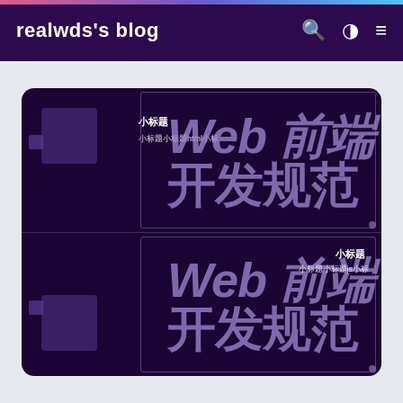realwds's blog
[Figure (illustration): Promotional image for Web前端开发规范 (Web Frontend Development Specification) blog post. Dark purple background card showing two sections: top half with 'Web前端开发规范' title in large purple text with small labels for html specification, bottom half with same title and js specification labels. Decorative geometric squares on left side.]